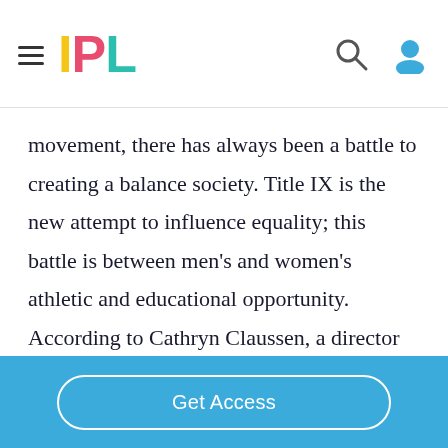IPL
movement, there has always been a battle to creating a balance society. Title IX is the new attempt to influence equality; this battle is between men’s and women’s athletic and educational opportunity. According to Cathryn Claussen, a director of the Sports Management program at Washington State University, comments that “prior to Title IX,
Get Access